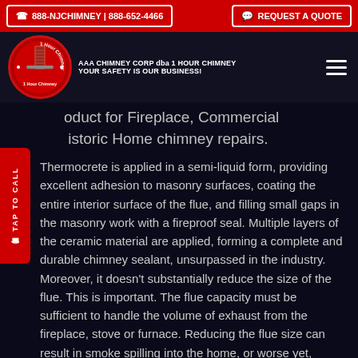☎ 888-NJCHIMNEY | 888-652-4466   REQUEST A QUOTE
AAA CHIMNEY CORP dba 1 HOUR CHIMNEY YOUR SAFETY IS OUR BUSINESS!
...oduct for Fireplace, Commercial Historic Home chimney repairs.
Thermocrete is applied in a semi-liquid form, providing excellent adhesion to masonry surfaces, coating the entire interior surface of the flue, and filling small gaps in the masonry work with a fireproof seal. Multiple layers of the ceramic material are applied, forming a complete and durable chimney sealant, unsurpassed in the industry. Moreover, it doesn't substantially reduce the size of the flue. This is important. The flue capacity must be sufficient to handle the volume of exhaust from the fireplace, stove or furnace. Reducing the flue size can result in smoke spilling into the home, or worse yet, allowing carbon monoxide to enter the